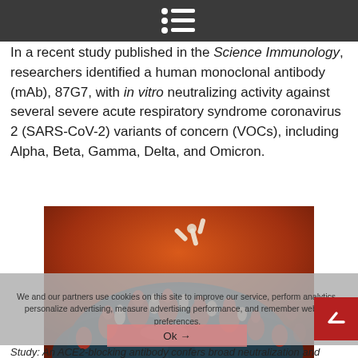[Menu icon / navigation bar]
In a recent study published in the Science Immunology, researchers identified a human monoclonal antibody (mAb), 87G7, with in vitro neutralizing activity against several severe acute respiratory syndrome coronavirus 2 (SARS-CoV-2) variants of concern (VOCs), including Alpha, Beta, Gamma, Delta, and Omicron.
[Figure (photo): Close-up electron microscope-style illustration of SARS-CoV-2 coronavirus particles with spike proteins (red and white protrusions) on a dark blue/grey surface against an orange-red background. An antibody Y-shaped molecule is visible in the upper area.]
We and our partners use cookies on this site to improve our service, perform analytics, personalize advertising, measure advertising performance, and remember website preferences.
Study: An ACE2-blocking antibody confers broad neutralization and protection against Omicron